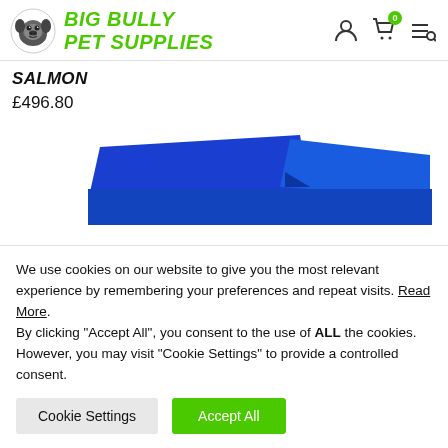BIG BULLY PET SUPPLIES
SALMON
£496.80
[Figure (photo): Blue pet food packaging / product shown in blue color, partially visible from the top]
We use cookies on our website to give you the most relevant experience by remembering your preferences and repeat visits. Read More. By clicking "Accept All", you consent to the use of ALL the cookies. However, you may visit "Cookie Settings" to provide a controlled consent.